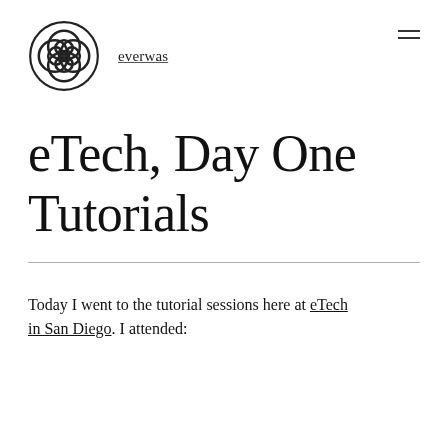everwas
eTech, Day One Tutorials
Today I went to the tutorial sessions here at eTech in San Diego. I attended: